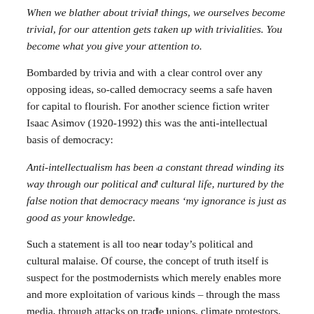When we blather about trivial things, we ourselves become trivial, for our attention gets taken up with trivialities. You become what you give your attention to.
Bombarded by trivia and with a clear control over any opposing ideas, so-called democracy seems a safe haven for capital to flourish. For another science fiction writer Isaac Asimov (1920-1992) this was the anti-intellectual basis of democracy:
Anti-intellectualism has been a constant thread winding its way through our political and cultural life, nurtured by the false notion that democracy means ‘my ignorance is just as good as your knowledge.
Such a statement is all too near today’s political and cultural malaise. Of course, the concept of truth itself is suspect for the postmodernists which merely enables more and more exploitation of various kinds – through the mass media, through attacks on trade unions, climate protestors, Black Lives Matter activists, women campaigning against domestic violence – to take place.